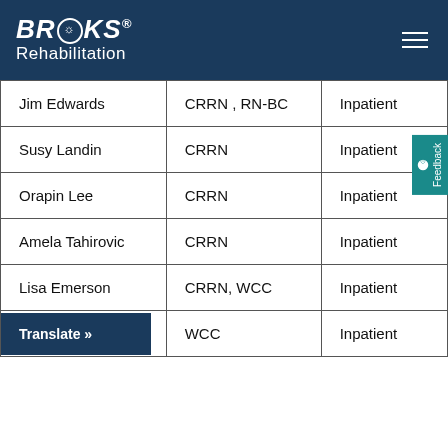Brooks Rehabilitation
| Name | Credentials | Setting |
| --- | --- | --- |
| Jim Edwards | CRRN , RN-BC | Inpatient |
| Susy Landin | CRRN | Inpatient |
| Orapin Lee | CRRN | Inpatient |
| Amela Tahirovic | CRRN | Inpatient |
| Lisa Emerson | CRRN, WCC | Inpatient |
|  | WCC | Inpatient |